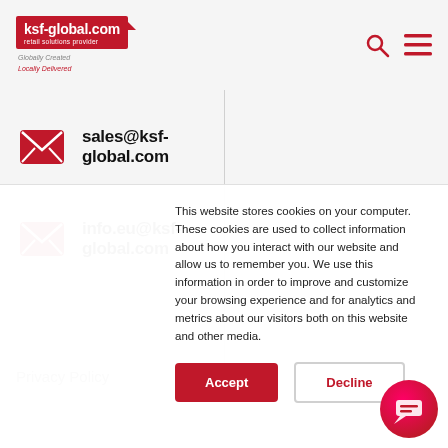[Figure (logo): ksf-global.com retail solutions provider logo with red badge and taglines 'Globally Created, Locally Delivered']
sales@ksf-global.com
info.eu@ksf-global.com
Privacy Policy
This website stores cookies on your computer. These cookies are used to collect information about how you interact with our website and allow us to remember you. We use this information in order to improve and customize your browsing experience and for analytics and metrics about our visitors both on this website and other media.